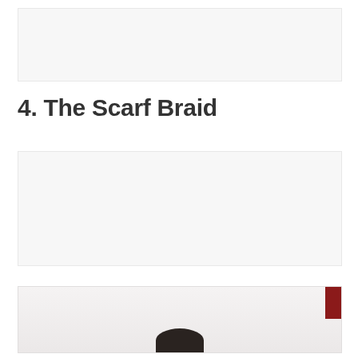[Figure (photo): Top image placeholder area, light grey background]
4. The Scarf Braid
[Figure (photo): Middle image placeholder area, light grey background]
[Figure (photo): Bottom partial photo showing the top of a person's head with dark hair, and a red element in top right corner, white/grey background]